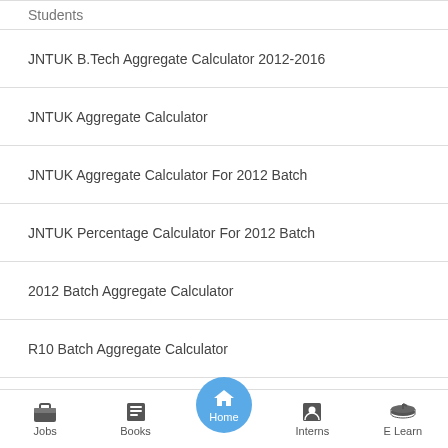Students
JNTUK B.Tech Aggregate Calculator 2012-2016
JNTUK Aggregate Calculator
JNTUK Aggregate Calculator For 2012 Batch
JNTUK Percentage Calculator For 2012 Batch
2012 Batch Aggregate Calculator
R10 Batch Aggregate Calculator
R10 Batch Aggregate Marks Calculator
R10 Batch Total Aggregate Marks Calculator
R10 Batch Total Marks Calculator
R10 Batch Total Percentage Calculator